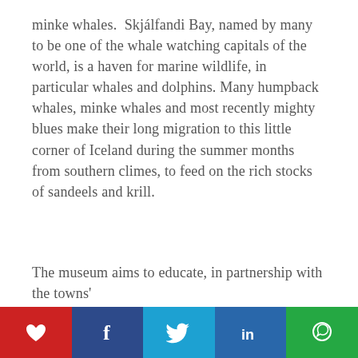minke whales.  Skjálfandi Bay, named by many to be one of the whale watching capitals of the world, is a haven for marine wildlife, in particular whales and dolphins. Many humpback whales, minke whales and most recently mighty blues make their long migration to this little corner of Iceland during the summer months from southern climes, to feed on the rich stocks of sandeels and krill.
The museum aims to educate, in partnership with the towns'
[Figure (infographic): Social media share bar with five buttons: heart/like (red), Facebook (dark blue), Twitter (light blue), LinkedIn (blue), WhatsApp (green)]